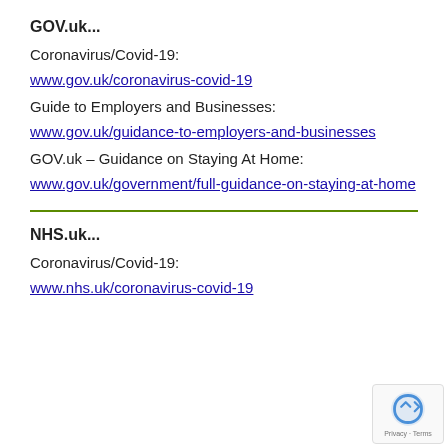GOV.uk...
Coronavirus/Covid-19:
www.gov.uk/coronavirus-covid-19
Guide to Employers and Businesses:
www.gov.uk/guidance-to-employers-and-businesses
GOV.uk – Guidance on Staying At Home:
www.gov.uk/government/full-guidance-on-staying-at-home
NHS.uk...
Coronavirus/Covid-19:
www.nhs.uk/coronavirus-covid-19